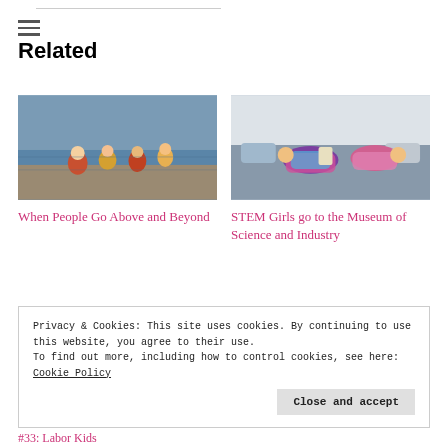≡
Related
[Figure (photo): Children sitting by a waterfront/dock, some in red shirts, with water in background]
When People Go Above and Beyond
[Figure (photo): Two girls lying on a bed, one in colorful tie-dye outfit]
STEM Girls go to the Museum of Science and Industry
Privacy & Cookies: This site uses cookies. By continuing to use this website, you agree to their use.
To find out more, including how to control cookies, see here: Cookie Policy
Close and accept
#33: Labor Kids